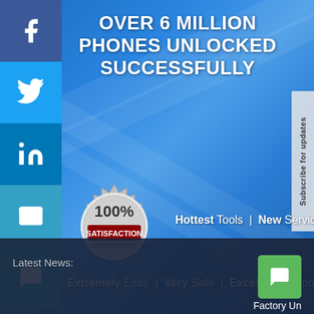OVER 6 MILLION PHONES UNLOCKED SUCCESSFULLY
[Figure (illustration): 100% Satisfaction Guaranteed badge - silver starburst seal with text '100% SATISFACTION GUARANTEED']
Hottest Tools | New Services |
Extremely Easy | Very Safe | Excellent Support
[Figure (illustration): Gold guarantee coin badge with text 'Quality Service Reliability' and checkboxes, 'GUARANTEE' written around the edge]
Subscribe for updates
Latest News:
Factory Un